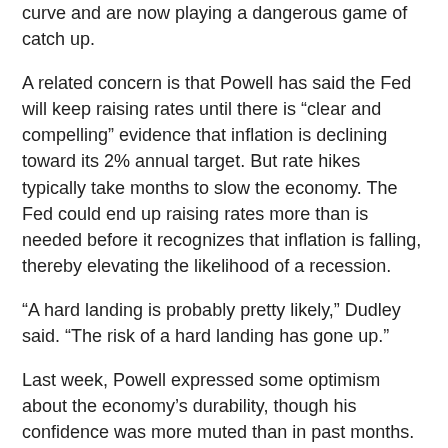curve and are now playing a dangerous game of catch up.
A related concern is that Powell has said the Fed will keep raising rates until there is “clear and compelling” evidence that inflation is declining toward its 2% annual target. But rate hikes typically take months to slow the economy. The Fed could end up raising rates more than is needed before it recognizes that inflation is falling, thereby elevating the likelihood of a recession.
“A hard landing is probably pretty likely,” Dudley said. “The risk of a hard landing has gone up.”
Last week, Powell expressed some optimism about the economy’s durability, though his confidence was more muted than in past months. He continued to hold out hope that the Fed could achieve a “soft landing,” meaning growth that would be slow enough to tame inflation without causing a downturn and widespread job losses.